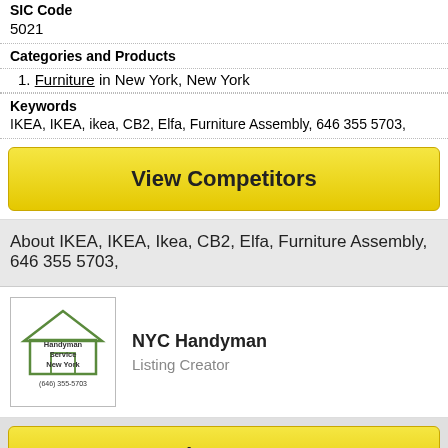SIC Code
5021
Categories and Products
1. Furniture in New York, New York
Keywords
IKEA, IKEA, ikea, CB2, Elfa, Furniture Assembly, 646 355 5703,
[Figure (other): Yellow button labeled 'View Competitors']
About IKEA, IKEA, Ikea, CB2, Elfa, Furniture Assembly, 646 355 5703,
[Figure (logo): NYC Handyman logo with house and text 'Handyman Service New York (646) 355-5703']
NYC Handyman
Listing Creator
[Figure (other): Yellow button labeled 'Send a Message']
Click Here To Related listing